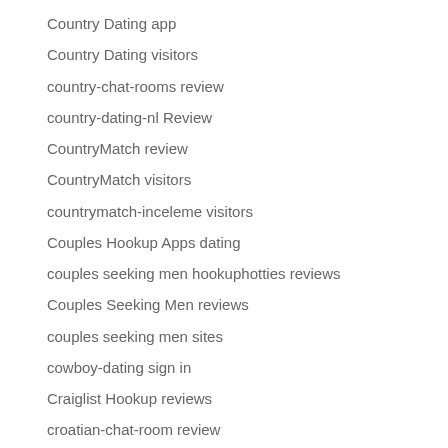Country Dating app
Country Dating visitors
country-chat-rooms review
country-dating-nl Review
CountryMatch review
CountryMatch visitors
countrymatch-inceleme visitors
Couples Hookup Apps dating
couples seeking men hookuphotties reviews
Couples Seeking Men reviews
couples seeking men sites
cowboy-dating sign in
Craiglist Hookup reviews
croatian-chat-room review
croatian-dating review